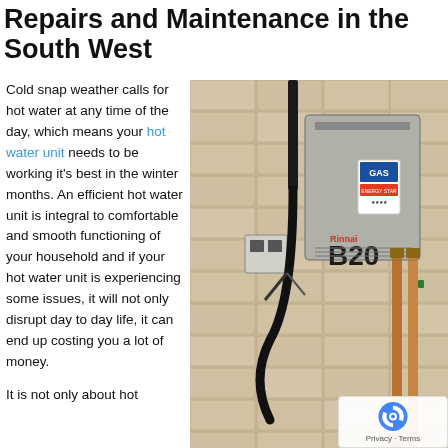Repairs and Maintenance in the South West
Cold snap weather calls for hot water at any time of the day, which means your hot water unit needs to be working it's best in the winter months. An efficient hot water unit is integral to comfortable and smooth functioning of your household and if your hot water unit is experiencing some issues, it will not only disrupt day to day life, it can end up costing you a lot of money.

It is not only about hot
[Figure (photo): A Rinnai B20 gas hot water unit mounted on a brick wall outdoors, with copper pipes and electrical wiring connections visible.]